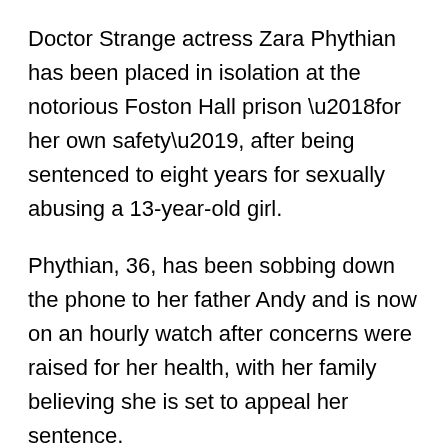Doctor Strange actress Zara Phythian has been placed in isolation at the notorious Foston Hall prison ‘for her own safety’, after being sentenced to eight years for sexually abusing a 13-year-old girl.
Phythian, 36, has been sobbing down the phone to her father Andy and is now on an hourly watch after concerns were raised for her health, with her family believing she is set to appeal her sentence.
Foston Hall, in Derbyshire, is knowns for its high levels of violence and self-harm, and is home to infamous female criminals, including Ian Huntley’s ex-girlfriend Maxine Carr and Karen Matthews,